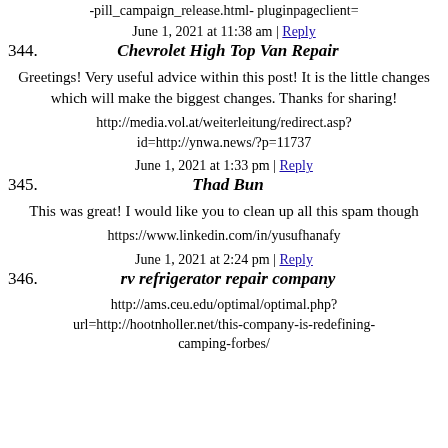-pill_campaign_release.html- pluginpageclient=
June 1, 2021 at 11:38 am | Reply
344. Chevrolet High Top Van Repair
Greetings! Very useful advice within this post! It is the little changes which will make the biggest changes. Thanks for sharing!
http://media.vol.at/weiterleitung/redirect.asp?id=http://ynwa.news/?p=11737
June 1, 2021 at 1:33 pm | Reply
345. Thad Bun
This was great! I would like you to clean up all this spam though
https://www.linkedin.com/in/yusufhanafy
June 1, 2021 at 2:24 pm | Reply
346. rv refrigerator repair company
http://ams.ceu.edu/optimal/optimal.php?url=http://hootnholler.net/this-company-is-redefining-camping-forbes/